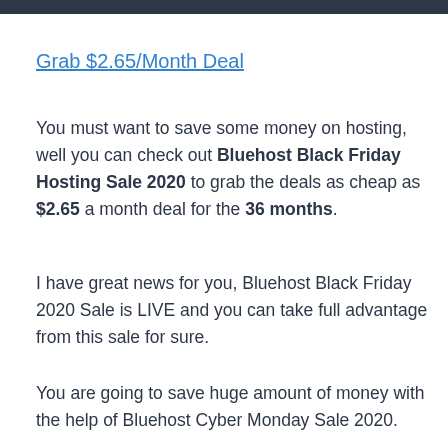[Figure (other): Dark banner/header bar at the top of the page]
Grab $2.65/Month Deal
You must want to save some money on hosting, well you can check out Bluehost Black Friday Hosting Sale 2020 to grab the deals as cheap as $2.65 a month deal for the 36 months.
I have great news for you, Bluehost Black Friday 2020 Sale is LIVE and you can take full advantage from this sale for sure.
You are going to save huge amount of money with the help of Bluehost Cyber Monday Sale 2020.